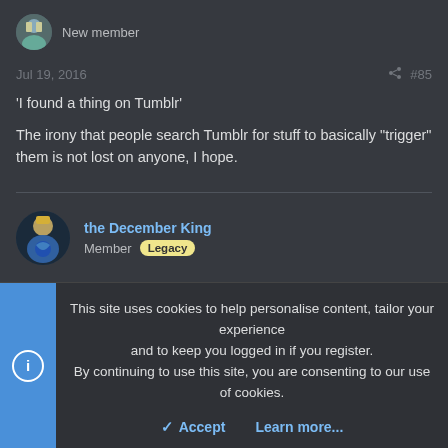New member
Jul 19, 2016   #85
'I found a thing on Tumblr'

The irony that people search Tumblr for stuff to basically 'trigger' them is not lost on anyone, I hope.
the December King
Member Legacy
Jul 19, 2016   #86
This site uses cookies to help personalise content, tailor your experience and to keep you logged in if you register.
By continuing to use this site, you are consenting to our use of cookies.
Accept   Learn more...